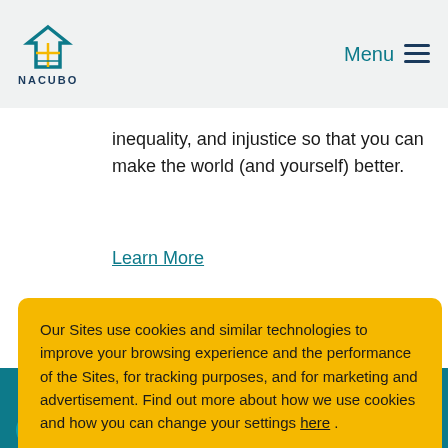[Figure (logo): NACUBO logo with stylized house/chevron icon in teal and gold above the text NACUBO]
Menu
inequality, and injustice so that you can make the world (and yourself) better.
Learn More
Our Sites use cookies and similar technologies to improve your browsing experience and the performance of the Sites, for tracking purposes, and for marketing and advertisement. Find out more about how we use cookies and how you can change your settings here .
I REJECT COOKIES
I ACCEPT COOKIES